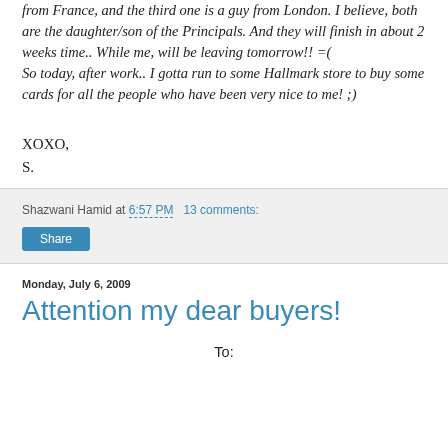from France, and the third one is a guy from London. I believe, both are the daughter/son of the Principals. And they will finish in about 2 weeks time.. While me, will be leaving tomorrow!! =(
So today, after work.. I gotta run to some Hallmark store to buy some cards for all the people who have been very nice to me! ;)
XOXO,
S.
Shazwani Hamid at 6:57 PM   13 comments:
Share
Monday, July 6, 2009
Attention my dear buyers!
To: